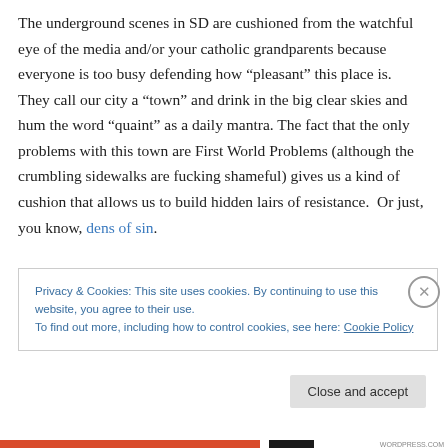The underground scenes in SD are cushioned from the watchful eye of the media and/or your catholic grandparents because everyone is too busy defending how “pleasant” this place is.  They call our city a “town” and drink in the big clear skies and hum the word “quaint” as a daily mantra. The fact that the only problems with this town are First World Problems (although the crumbling sidewalks are fucking shameful) gives us a kind of cushion that allows us to build hidden lairs of resistance.  Or just, you know, dens of sin.
Privacy & Cookies: This site uses cookies. By continuing to use this website, you agree to their use.
To find out more, including how to control cookies, see here: Cookie Policy